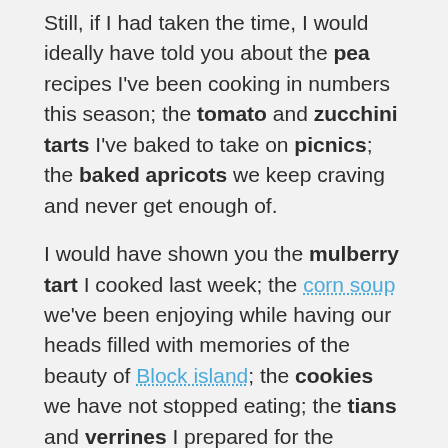Still, if I had taken the time, I would ideally have told you about the pea recipes I've been cooking in numbers this season; the tomato and zucchini tarts I've baked to take on picnics; the baked apricots we keep craving and never get enough of.
I would have shown you the mulberry tart I cooked last week; the corn soup we've been enjoying while having our heads filled with memories of the beauty of Block island; the cookies we have not stopped eating; the tians and verrines I prepared for the weekend of July 4th when friends came over for dinner.
But instead, I enjoyed Sunday. A beautiful summery day. Family and time away from the computer.
I am sure you did too.
Or I truly hope that's what happened to you.